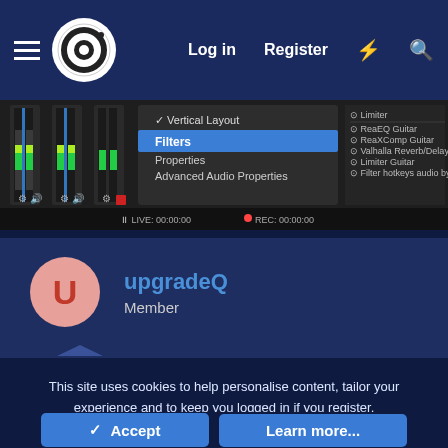Log in  Register
[Figure (screenshot): OBS Studio interface screenshot showing a context menu with options: Vertical Layout (checked), Filters (highlighted in blue), Properties, Advanced Audio Properties. On the right side visible filter list: Limiter, ReaEQ Guitar, ReaXComp Guitar, Valhalla Reverb/Delay Guitar, Limiter Guitar, Filter hotkeys audio by upgradeQ. Bottom bar shows LIVE: 00:00:00 and REC: 00:00:00.]
upgradeQ
Member
This site uses cookies to help personalise content, tailor your experience and to keep you logged in if you register.
By continuing to use this site, you are consenting to our use of cookies.
Accept  Learn more...